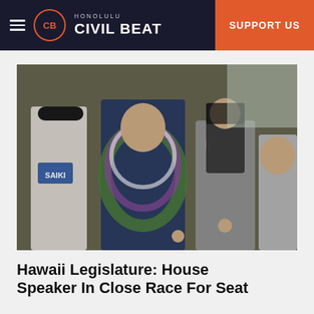Honolulu Civil Beat | SUPPORT US
[Figure (photo): Group photo of people including a man wearing a floral shirt and large lei with a 'Saiki' campaign shirt visible on a young man wearing a black mask on the left; others are smiling and giving thumbs up or shaka signs.]
Hawaii Legislature: House Speaker In Close Race For Seat